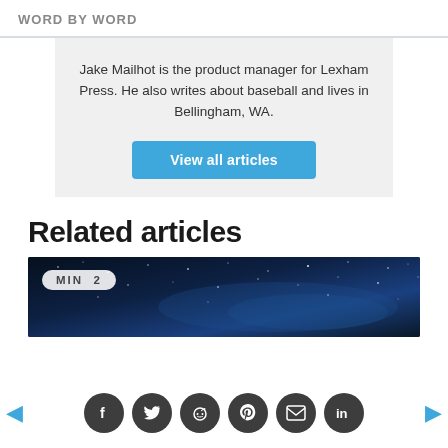WORD BY WORD
Jake Mailhot is the product manager for Lexham Press. He also writes about baseball and lives in Bellingham, WA.
View all articles
Related articles
[Figure (photo): Night sky with stars background with MIN 2 badge overlay]
Social sharing icons: Facebook, Twitter, Reddit, Pinterest, Email, LinkedIn with left and right navigation arrows